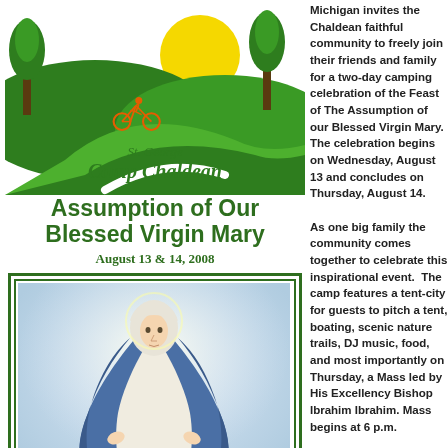[Figure (logo): St. George Camp Chaldean logo with cyclist, trees, sun, and green hills with stylized text 'Camp Chaldean St. George']
Assumption of Our Blessed Virgin Mary
August 13 & 14, 2008
[Figure (illustration): Religious illustration of the Assumption of the Blessed Virgin Mary, depicting Mary in white and blue robes ascending into clouds with rays of light]
Michigan invites the Chaldean faithful community to freely join their friends and family for a two-day camping celebration of the Feast of The Assumption of our Blessed Virgin Mary. The celebration begins on Wednesday, August 13 and concludes on Thursday, August 14.

As one big family the community comes together to celebrate this inspirational event.  The camp features a tent-city for guests to pitch a tent, boating, scenic nature trails, DJ music, food, and most importantly on Thursday, a Mass led by His Excellency Bishop Ibrahim Ibrahim. Mass begins at 6 p.m.